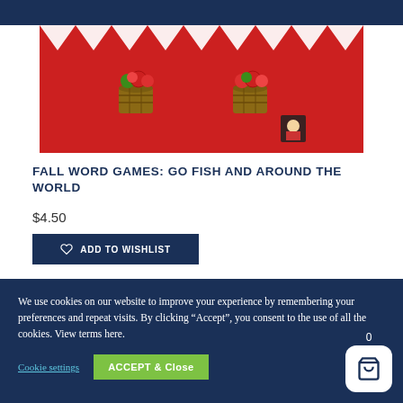[Figure (photo): Product image showing a red background with paper craft decorations including white zigzag paper, baskets of apples, and a small character — cover art for Fall Word Games educational product]
FALL WORD GAMES: GO FISH AND AROUND THE WORLD
$4.50
ADD TO WISHLIST
We use cookies on our website to improve your experience by remembering your preferences and repeat visits. By clicking "Accept", you consent to the use of all the cookies. View terms here.
Cookie settings
ACCEPT & Close